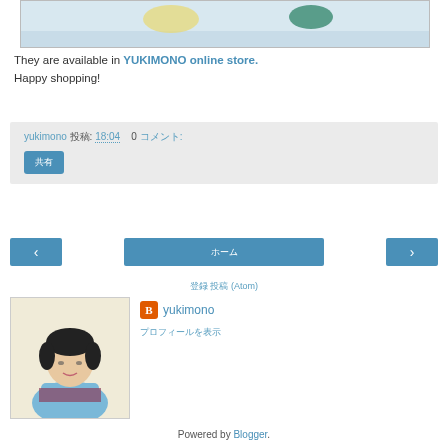[Figure (photo): Partial top of product photo showing small Japanese hair accessories on light background]
They are available in YUKIMONO online store.
Happy shopping!
yukimono 投稿: 18:04   0 コメント:
共有
‹   ホーム   ›
登録 投稿 (Atom)
[Figure (photo): Author profile photo of a woman in a blue kimono with short black hair]
yukimono
プロフィールを表示
Powered by Blogger.